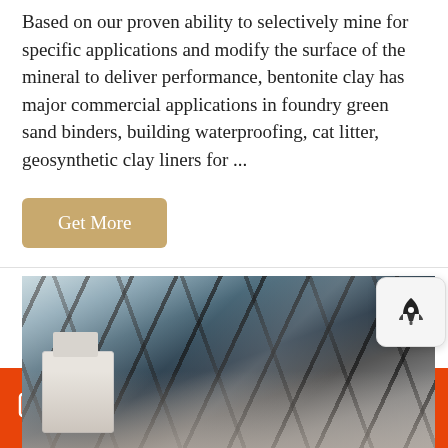Based on our proven ability to selectively mine for specific applications and modify the surface of the mineral to deliver performance, bentonite clay has major commercial applications in foundry green sand binders, building waterproofing, cat litter, geosynthetic clay liners for ...
Get More
[Figure (photo): Interior of an industrial warehouse or factory showing steel beam roof structure with diagonal metal trusses, bright daylight filtering through roof panels, and white industrial equipment visible at lower left.]
Leave a message   Chat Online